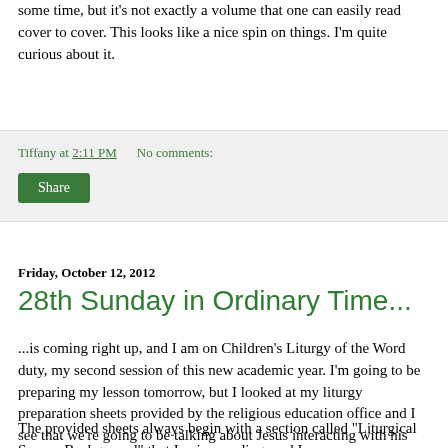some time, but it's not exactly a volume that one can easily read cover to cover. This looks like a nice spin on things. I'm quite curious about it.
Tiffany at 2:11 PM   No comments:
Share
Friday, October 12, 2012
28th Sunday in Ordinary Time...
...is coming right up, and I am on Children's Liturgy of the Word duty, my second session of this new academic year. I'm going to be preparing my lesson tomorrow, but I looked at my liturgy preparation sheets provided by the religious education office and I see that we're going to be talking about Jesus interacting with his disciples and answering their questions about how to best follow Him.
The provided sheets always begin with a section called "Liturgical Season Background" that I enjoy reading, and I